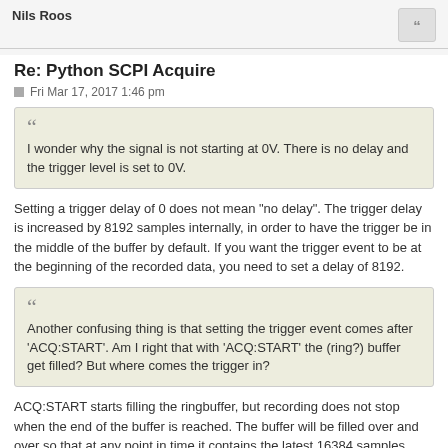Nils Roos
Re: Python SCPI Acquire
Fri Mar 17, 2017 1:46 pm
I wonder why the signal is not starting at 0V. There is no delay and the trigger level is set to 0V.
Setting a trigger delay of 0 does not mean "no delay". The trigger delay is increased by 8192 samples internally, in order to have the trigger be in the middle of the buffer by default. If you want the trigger event to be at the beginning of the recorded data, you need to set a delay of 8192.
Another confusing thing is that setting the trigger event comes after 'ACQ:START'. Am I right that with 'ACQ:START' the (ring?) buffer get filled? But where comes the trigger in?
ACQ:START starts filling the ringbuffer, but recording does not stop when the end of the buffer is reached. The buffer will be filled over and over so that at any point in time it contains the latest 16384 samples. The trigger (plus the trigger delay) marks the point when recording into the ringbuffer